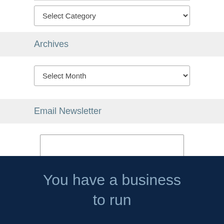Select Category
Archives
Select Month
Email Newsletter
SUBSCRIBE
You have a business to run